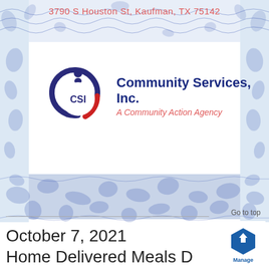3790 S Houston St, Kaufman, TX 75142
[Figure (logo): Community Services, Inc. (CSI) logo with circular emblem showing navy blue and red arcs with 'CSI' text in center, and figure symbol above. Text reads 'Community Services, Inc.' in bold navy and 'A Community Action Agency' in red italic.]
Go to top
October 7, 2021
Home Delivered Meals D
[Figure (logo): Manage (blue hexagon badge) logo in bottom right corner]